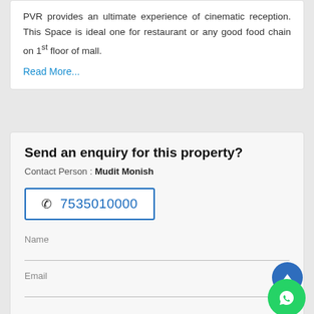PVR provides an ultimate experience of cinematic reception. This Space is ideal one for restaurant or any good food chain on 1st floor of mall.
Read More...
Send an enquiry for this property?
Contact Person : Mudit Monish
7535010000
Name
Email